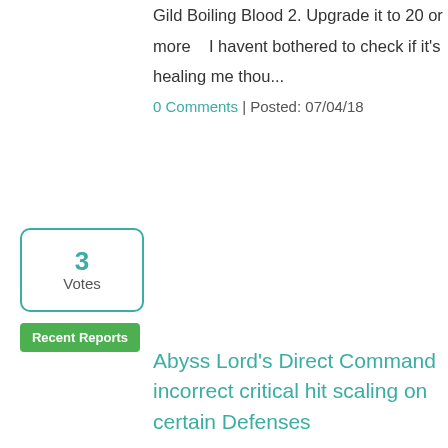Gild Boiling Blood 2. Upgrade it to 20 or more    I havent bothered to check if it's healing me thou...
0 Comments | Posted: 07/04/18
3
Votes
Recent Reports
Abyss Lord's Direct Command incorrect critical hit scaling on certain Defenses
Uisngg Abyss lord direct command on ramsters archers and colossus can not deal critical damage Repro Chance: 100%Steps for Bug Repro: Use abyss lord Use direct command skill on archer ramster and colossus on dummy check damage ticks Expected Results: Abbys